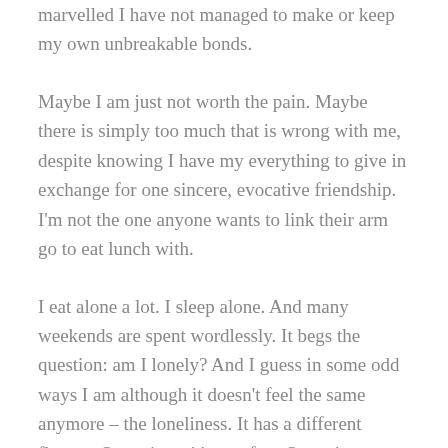marvelled I have not managed to make or keep my own unbreakable bonds.
Maybe I am just not worth the pain. Maybe there is simply too much that is wrong with me, despite knowing I have my everything to give in exchange for one sincere, evocative friendship. I'm not the one anyone wants to link their arm go to eat lunch with.
I eat alone a lot. I sleep alone. And many weekends are spent wordlessly. It begs the question: am I lonely? And I guess in some odd ways I am although it doesn't feel the same anymore – the loneliness. It has a different flavour. Sometimes it's comfort. Sometimes, mellow and gentle, like hair being stroked. Other times, it itches like a synthetic sweater. But it is always quiet. Even through the din in my head that won't let me